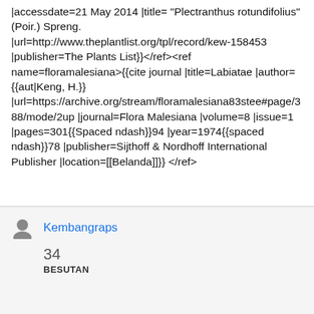|accessdate=21 May 2014 |title= "Plectranthus rotundifolius" (Poir.) Spreng. |url=http://www.theplantlist.org/tpl/record/kew-158453 |publisher=The Plants List}}</ref><ref name=floramalesiana>{{cite journal |title=Labiatae |author={{aut|Keng, H.}} |url=https://archive.org/stream/floramalesiana83stee#page/388/mode/2up |journal=Flora Malesiana |volume=8 |issue=1 |pages=301{{Spaced ndash}}94 |year=1974{{spaced ndash}}78 |publisher=Sijthoff & Nordhoff International Publisher |location=[[Belanda]]}}</ref>
Kembangraps
34
BESUTAN